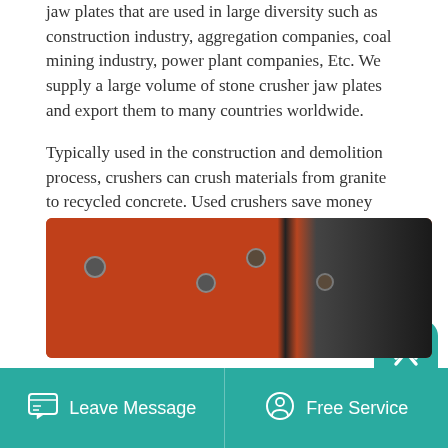jaw plates that are used in large diversity such as construction industry, aggregation companies, coal mining industry, power plant companies, Etc. We supply a large volume of stone crusher jaw plates and export them to many countries worldwide.
Typically used in the construction and demolition process, crushers can crush materials from granite to recycled concrete. Used crushers save money over brand new models and if maintained properly they can often be a better value. You may need a cone crusher, jaw crusher or impact crushers, depending on the intended application.
Read More →
[Figure (photo): Photo of red industrial crusher machinery with metal bolts and dark panels]
Leave Message
Free Service